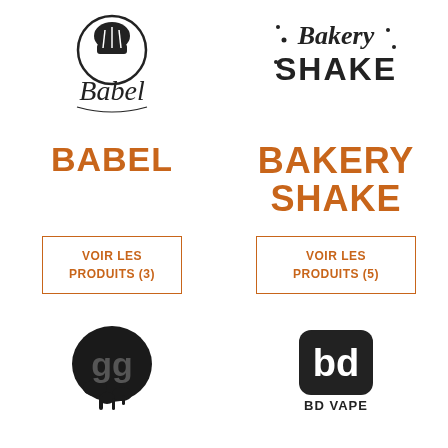[Figure (logo): Babel brand logo - circular emblem with chef hat and cursive 'Babel' text below]
[Figure (logo): Bakery Shake brand logo - handwritten cursive 'Bakery SHAKE' with decorative dots]
BABEL
BAKERY SHAKE
VOIR LES PRODUITS (3)
VOIR LES PRODUITS (5)
[Figure (logo): Black grunge splatter logo with stylized 'G' letters]
[Figure (logo): BD Vape logo - rounded square with stylized 'bd' letters and 'BD VAPE' text below]